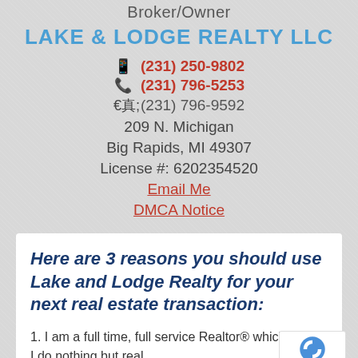Broker/Owner
LAKE & LODGE REALTY LLC
(231) 250-9802
(231) 796-5253
(231) 796-9592
209 N. Michigan
Big Rapids, MI 49307
License #: 6202354520
Email Me
DMCA Notice
Here are 3 reasons you should use Lake and Lodge Realty for your next real estate transaction:
1. I am a full time, full service Realtor® which means I do nothing but real